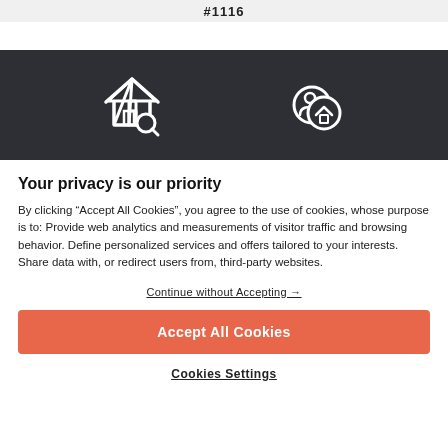#1116
[Figure (illustration): Dark banner with two white icons: a house with a search/magnifying glass icon on the left, and two overlapping circles with a person and house icon on the right]
Your privacy is our priority
By clicking “Accept All Cookies”, you agree to the use of cookies, whose purpose is to: Provide web analytics and measurements of visitor traffic and browsing behavior. Define personalized services and offers tailored to your interests. Share data with, or redirect users from, third-party websites.
Continue without Accepting →
Accept All Cookies
Cookies Settings